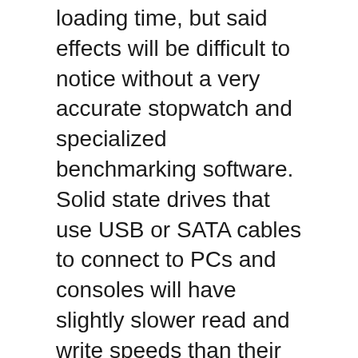loading time, but said effects will be difficult to notice without a very accurate stopwatch and specialized benchmarking software. Solid state drives that use USB or SATA cables to connect to PCs and consoles will have slightly slower read and write speeds than their M.2 NVMe counterparts, but as long as your SSD has at least 400 MB/s read and write speed, it will be just fine for gaming.
There are plenty of options out there if you're in the market for a gaming-specific SSD. Here's a short list of alternative products that I think are were great choices:
Amazon Prime Day 2022: Early Deals